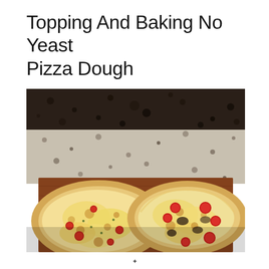Topping And Baking No Yeast Pizza Dough
[Figure (photo): Two freshly baked no-yeast pizzas with melted cheese and tomato toppings, sitting on a wooden cutting board on a granite countertop. The background shows a dark granite backsplash and lighter granite counter surface.]